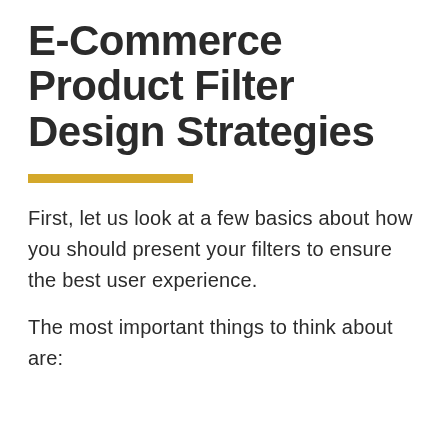E-Commerce Product Filter Design Strategies
First, let us look at a few basics about how you should present your filters to ensure the best user experience.
The most important things to think about are: